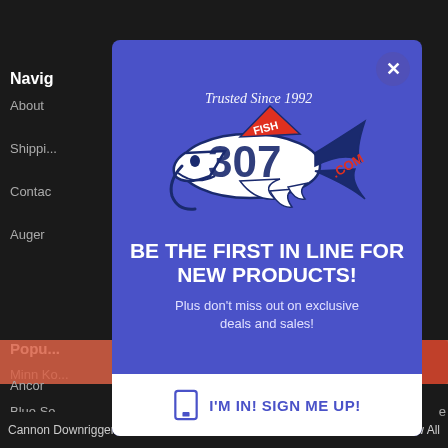[Figure (screenshot): Website screenshot background showing navigation menu items: Navig..., About, Shippi..., Contac, Auger, Popu..., Minn K..., Ancor, Blue Se..., Cannon Downriggers, View All. Dark background with salmon/red stripe.]
[Figure (logo): Fish307.com logo — a hammerhead shark illustration with '307' text and 'FISH' on the dorsal fin, '.COM' on the tail. Text above reads 'Trusted Since 1992' in script font. Logo is white, navy blue, and red on blue background.]
BE THE FIRST IN LINE FOR NEW PRODUCTS!
Plus don't miss out on exclusive deals and sales!
I'M IN! SIGN ME UP!